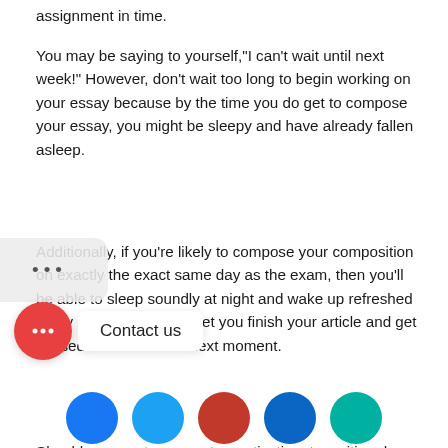assignment in time.
You may be saying to yourself,"I can't wait until next week!" However, don't wait too long to begin working on your essay because by the time you do get to compose your essay, you might be sleepy and have already fallen asleep.
Additionally, if you're likely to compose your composition on exactly the exact same day as the exam, then you'll be able to sleep soundly at night and wake up refreshed every morning. This will let you finish your article and get passed on the test the next moment.
Should you want some extra motivation, try writing down your goals because you sit down to write your essay every day and write down how long it takes to get your work done. By the time you get to the final, you must be confident enough to know you've completed the mission and will be ready to graduate!
[Figure (infographic): Chat bubble UI overlay with red circular icon showing ellipsis dots and a white popup label reading 'Contact us']
[Figure (infographic): Row of social media icon circles (Facebook blue, Twitter light blue, red, LinkedIn blue, teal) partially visible at bottom of page]